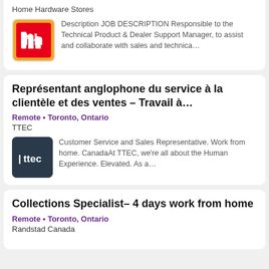Home Hardware Stores
[Figure (logo): Home Hardware Stores logo — red and orange square with white 'hh' icon]
Description JOB DESCRIPTION Responsible to the Technical Product & Dealer Support Manager, to assist and collaborate with sales and technica…
Représentant anglophone du service à la clientèle et des ventes – Travail à…
Remote • Toronto, Ontario
TTEC
[Figure (logo): TTEC logo — dark navy square with white 'ttec' text]
Customer Service and Sales Representative. Work from home. CanadaAt TTEC, we're all about the Human Experience. Elevated. As a…
Collections Specialist– 4 days work from home
Remote • Toronto, Ontario
Randstad Canada